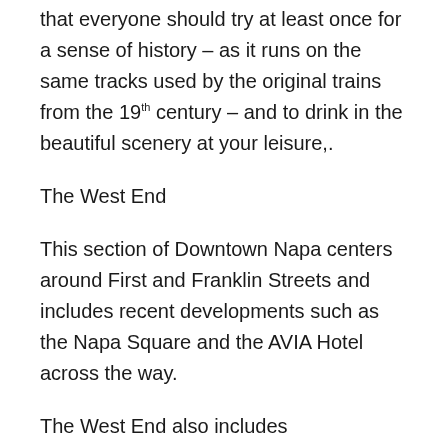that everyone should try at least once for a sense of history – as it runs on the same tracks used by the original trains from the 19th century – and to drink in the beautiful scenery at your leisure,.
The West End
This section of Downtown Napa centers around First and Franklin Streets and includes recent developments such as the Napa Square and the AVIA Hotel across the way.
The West End also includes Downtown Napa's wine culture...